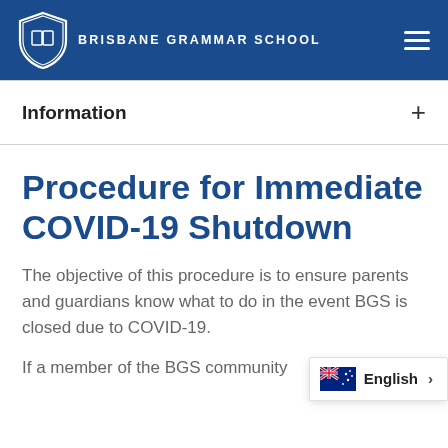BRISBANE GRAMMAR SCHOOL
Information
Procedure for Immediate COVID-19 Shutdown
The objective of this procedure is to ensure parents and guardians know what to do in the event BGS is closed due to COVID-19.
If a member of the BGS community